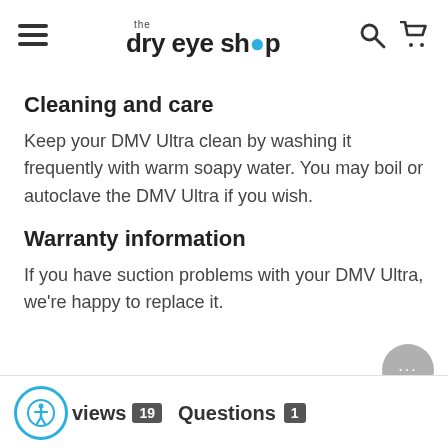the dry eye shop
Cleaning and care
Keep your DMV Ultra clean by washing it frequently with warm soapy water. You may boil or autoclave the DMV Ultra if you wish.
Warranty information
If you have suction problems with your DMV Ultra, we're happy to replace it.
Reviews 19   Questions 1